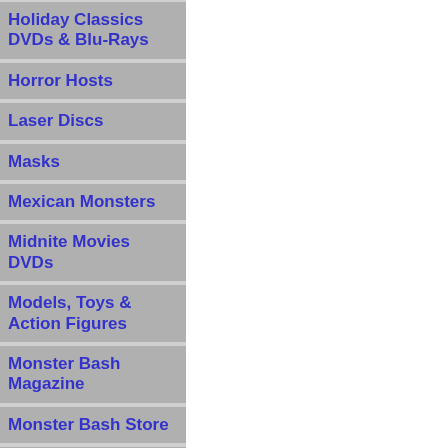Holiday Classics DVDs & Blu-Rays
Horror Hosts
Laser Discs
Masks
Mexican Monsters
Midnite Movies DVDs
Models, Toys & Action Figures
Monster Bash Magazine
Monster Bash Store
Old Time Radio
Original Movie Posters
Poster & Lobby Card Reproductions
Preview Trailer DVD